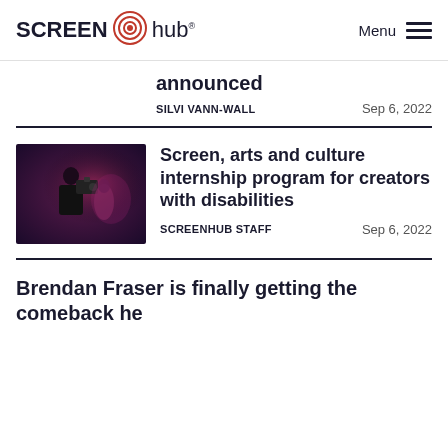SCREEN hub® Menu
announced
SILVI VANN-WALL    Sep 6, 2022
[Figure (photo): Person operating a camera in a dark, moody environment with purple/red lighting]
Screen, arts and culture internship program for creators with disabilities
SCREENHUB STAFF    Sep 6, 2022
Brendan Fraser is finally getting the comeback he